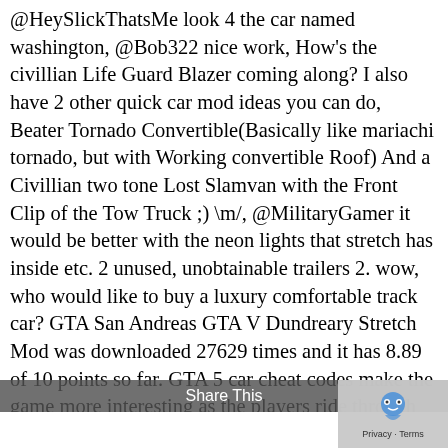@HeySlickThatsMe look 4 the car named washington, @Bob322 nice work, How's the civillian Life Guard Blazer coming along? I also have 2 other quick car mod ideas you can do, Beater Tornado Convertible(Basically like mariachi tornado, but with Working convertible Roof) And a Civillian two tone Lost Slamvan with the Front Clip of the Tow Truck ;) \m/, @MilitaryGamer it would be better with the neon lights that stretch has inside etc. 2 unused, unobtainable trailers 2. wow, who would like to buy a luxury comfortable track car? GTA San Andreas GTA V Dundreary Stretch Mod was downloaded 27629 times and it has 8.89 of 10 points so far. GTA 5 car cheat codes make the game more interesting as the players ride through Los Santos. This is my Grand Theft Auto V walkthrough. 25 trailers 1. Jan 5, 2018 @ 8:39am I bought it through Southern San … The Stretch is a stretch limousine featured in various GTA games. The Mammoth Patriot Stretch is a SUVs Vehicle featured in GTA Online (Next Gen), added to the game as part of the 1.44 After Hours update on July 24, 2018. Stretch Stock Car [Replace] 1.1. Start OpenIV 2. ... Is it a Pegasus car like Stretch with the minigun? GTA San Andreas GTA V Albany Stretch Mod was downloaded 16460 times and it has 9.46 of 10 points so far. The Patriot Stretch can be purchased from Southern S.A. Super Autos for $611,800, and it can be stored in the Garage (Personal Vehicle). Don't like Ads? #4. : Bo Executives and other Criminals This guide will highlight the mission strategies and Gold Medal Stay informed about the latest
Share This